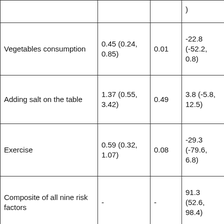|  |  |  | ) |
| Vegetables consumption | 0.45 (0.24, 0.85) | 0.01 | -22.8 (-52.2, 0.8) |
| Adding salt on the table | 1.37 (0.55, 3.42) | 0.49 | 3.8 (-5.8, 12.5) |
| Exercise | 0.59 (0.32, 1.07) | 0.08 | -29.3 (-79.6, 6.8) |
| Composite of all nine risk factors | - | - | 91.3 (52.6, 98.4) |
| Composite of low education, alcohol consumption and low/moderate medication | - | - | 89.2 (79.3, 94.3) |